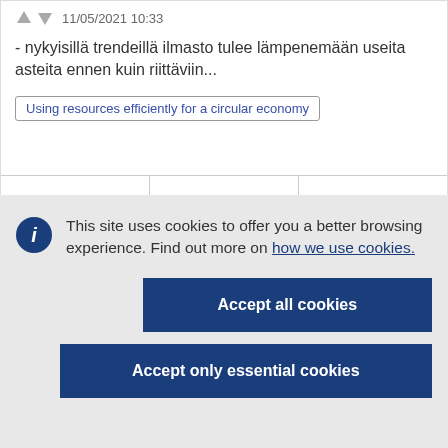11/05/2021 10:33
- nykyisillä trendeillä ilmasto tulee lämpenemään useita asteita ennen kuin riittäviin...
Using resources efficiently for a circular economy
This site uses cookies to offer you a better browsing experience. Find out more on how we use cookies.
Accept all cookies
Accept only essential cookies